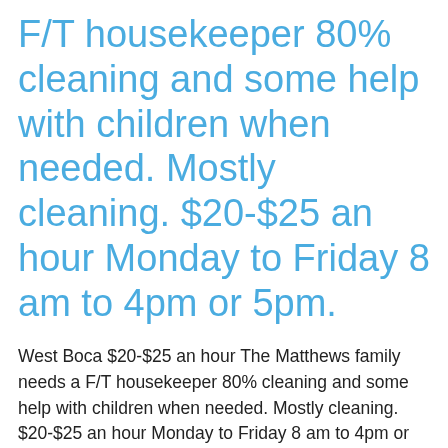F/T housekeeper 80% cleaning and some help with children when needed. Mostly cleaning. $20-$25 an hour Monday to Friday 8 am to 4pm or 5pm.
West Boca $20-$25 an hour The Matthews family needs a F/T housekeeper 80% cleaning and some help with children when needed. Mostly cleaning. $20-$25 an hour Monday to Friday 8 am to 4pm or 5pm. Dad pick up children from and bring them home from school . Mother and Mother in Law cares for the […]
P/T Housekeeper needed